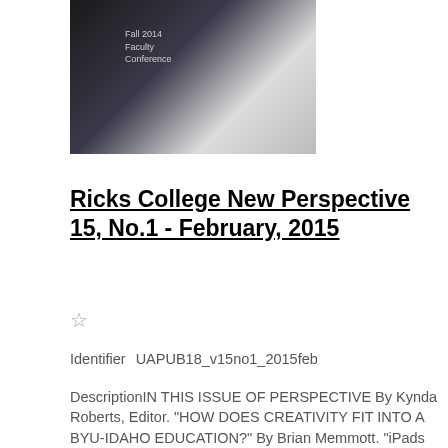[Figure (photo): Black and white photo from Fall 2014 Faculty Conference, showing people in a dark setting with text overlay reading 'Fall 2014 Faculty Conference']
Ricks College New Perspective 15, No.1 - February, 2015
☆
Identifier    UAPUB18_v15no1_2015feb
DescriptionIN THIS ISSUE OF PERSPECTIVE By Kynda Roberts, Editor. "HOW DOES CREATIVITY FIT INTO A BYU-IDAHO EDUCATION?" By Brian Memmott. "iPads IN THE CLASSROOM" By David Collins. "LEARNING ON THE EDGE OF CHAOS" By Richard Grimmett. "OWNERSHIP IN LEARNING" By Mark Orchard. "GETTING STUDENTS IN THE GAME: SIMPLE STRATEGIES FOR INCREASING STUDENT